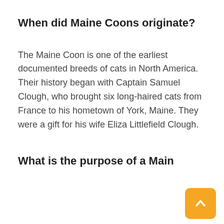When did Maine Coons originate?
The Maine Coon is one of the earliest documented breeds of cats in North America. Their history began with Captain Samuel Clough, who brought six long-haired cats from France to his hometown of York, Maine. They were a gift for his wife Eliza Littlefield Clough.
What is the purpose of a Maine Coon?